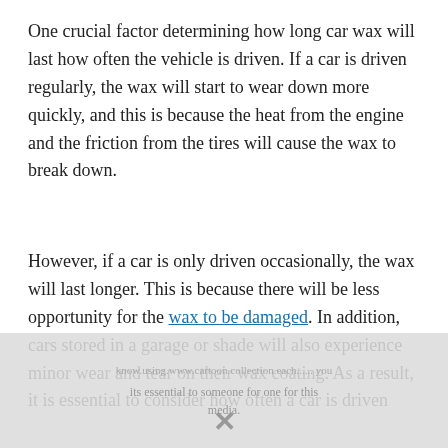One crucial factor determining how long car wax will last how often the vehicle is driven. If a car is driven regularly, the wax will start to wear down more quickly, and this is because the heat from the engine and the friction from the tires will cause the wax to break down.
However, if a car is only driven occasionally, the wax will last longer. This is because there will be less opportunity for the wax to be damaged. In addition, cars stored in a garage or shade will also experience minor wear and tear on their wax coating. As a result, it is essential to consider how often a car is driven
[Figure (other): Overlay advertisement/popup with watermark text and X close button partially visible at bottom of page]